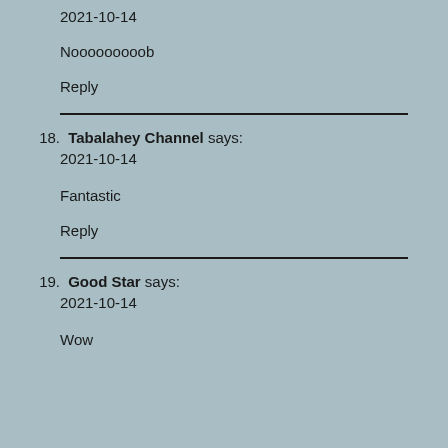2021-10-14
Nooooooooob
Reply
18. Tabalahey Channel says:
2021-10-14
Fantastic
Reply
19. Good Star says:
2021-10-14
Wow